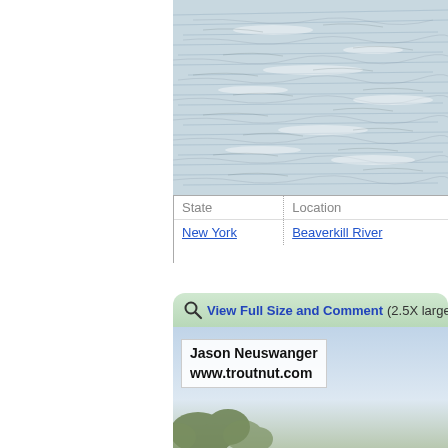[Figure (photo): Photo of rippling water surface with light reflections, river scene]
| State | Location |
| --- | --- |
| New York | Beaverkill River |
View Full Size and Comment (2.5X larger)
[Figure (photo): Photo showing sky and trees, with watermark text 'Jason Neuswanger www.troutnut.com']